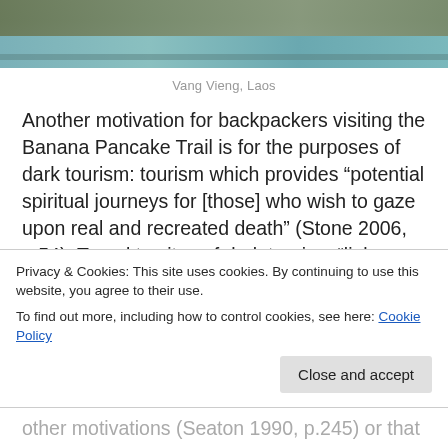[Figure (photo): Partial photo of a rocky shoreline with water, appears to be Vang Vieng, Laos]
Vang Vieng, Laos
Another motivation for backpackers visiting the Banana Pancake Trail is for the purposes of dark tourism: tourism which provides “potential spiritual journeys for [those] who wish to gaze upon real and recreated death” (Stone 2006, p.54). Travel to sites of dark tourism “links representations of reality with deliberately
Privacy & Cookies: This site uses cookies. By continuing to use this website, you agree to their use.
To find out more, including how to control cookies, see here: Cookie Policy
other motivations (Seaton 1990, p.245) or that